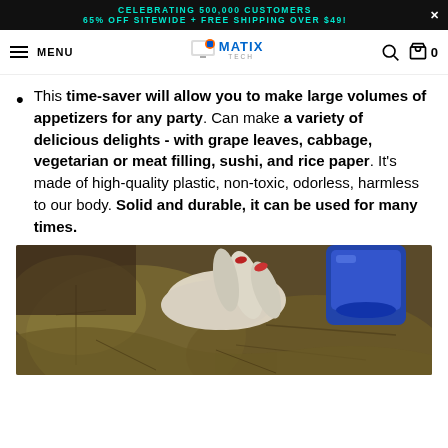CELEBRATING 500,000 CUSTOMERS 65% OFF SITEWIDE + FREE SHIPPING OVER $49!
MENU | MATIX TECH
This time-saver will allow you to make large volumes of appetizers for any party. Can make a variety of delicious delights - with grape leaves, cabbage, vegetarian or meat filling, sushi, and rice paper. It's made of high-quality plastic, non-toxic, odorless, harmless to our body. Solid and durable, it can be used for many times.
[Figure (photo): Hands using a rolling tool on grape leaves to make stuffed rolls]